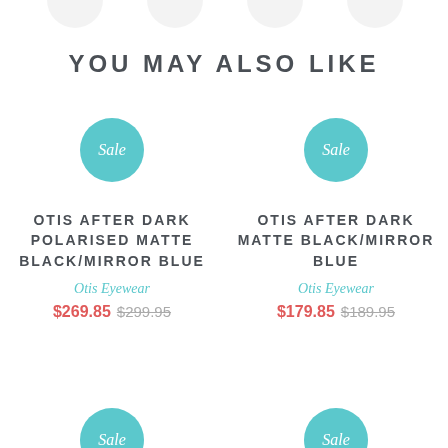[Figure (illustration): Partial circles/product thumbnail images cropped at top of page]
YOU MAY ALSO LIKE
Sale (badge, left product)
OTIS AFTER DARK POLARISED MATTE BLACK/MIRROR BLUE
Otis Eyewear
$269.85 $299.95
Sale (badge, right product)
OTIS AFTER DARK MATTE BLACK/MIRROR BLUE
Otis Eyewear
$179.85 $189.95
Sale (badge, bottom left)
Sale (badge, bottom right)